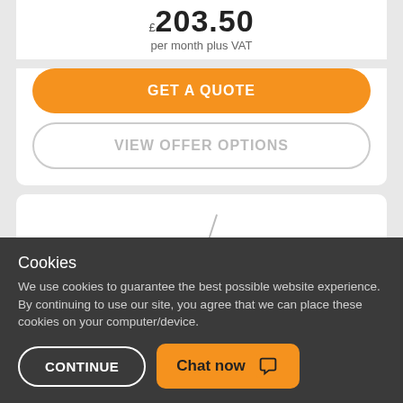£203.50
per month plus VAT
GET A QUOTE
VIEW OFFER OPTIONS
Cookies
We use cookies to guarantee the best possible website experience. By continuing to use our site, you agree that we can place these cookies on your computer/device.
CONTINUE
Chat now